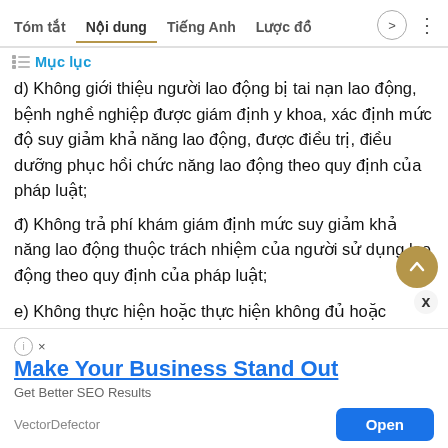Tóm tắt  Nội dung  Tiếng Anh  Lược đồ
Mục lục
d) Không giới thiệu người lao động bị tai nạn lao động, bệnh nghề nghiệp được giám định y khoa, xác định mức độ suy giảm khả năng lao động, được điều trị, điều dưỡng phục hồi chức năng lao động theo quy định của pháp luật;
đ) Không trả phí khám giám định mức suy giảm khả năng lao động thuộc trách nhiệm của người sử dụng lao động theo quy định của pháp luật;
e) Không thực hiện hoặc thực hiện không đủ hoặc
[Figure (screenshot): Advertisement banner: 'Make Your Business Stand Out - Get Better SEO Results - VectorDefector - Open button']